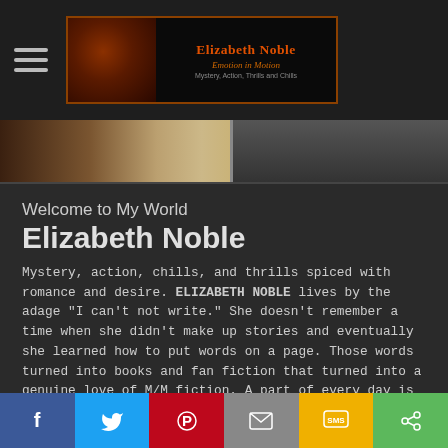Elizabeth Noble — Emotion in Motion — Mystery, Action, Thrills and Chills
[Figure (illustration): Decorative image strip showing book cover or atmospheric photo]
Welcome to My World
Elizabeth Noble
Mystery, action, chills, and thrills spiced with romance and desire. ELIZABETH NOBLE lives by the adage "I can't not write." She doesn't remember a time when she didn't make up stories and eventually she learned how to put words on a page. Those words turned into books and fan fiction that turned into a genuine love of M/M fiction. A part of every day is spent living in worlds she created that are filled with intrigue and espionage. She has a real love for a good mystery complete with murder and twisty plots as well as all things sci-fi, futuristic, and
Facebook | Twitter | Pinterest | Email | SMS | Share